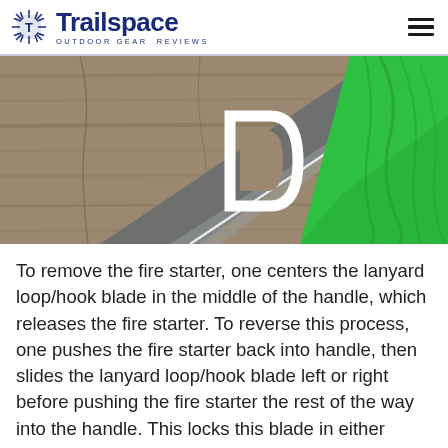Trailspace OUTDOOR GEAR REVIEWS
[Figure (photo): Close-up photo of a knife with a gray blade/sheath, green textured handle, and an orange accent, resting on a wood surface. A white D-shaped loop/hook is visible on the blade.]
To remove the fire starter, one centers the lanyard loop/hook blade in the middle of the handle, which releases the fire starter. To reverse this process, one pushes the fire starter back into handle, then slides the lanyard loop/hook blade left or right before pushing the fire starter the rest of the way into the handle. This locks this blade in either lanyard loop or hook blade position,